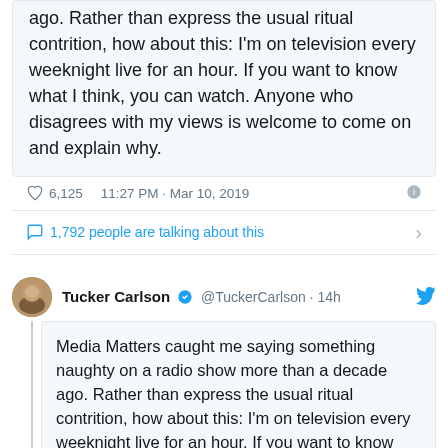ago. Rather than express the usual ritual contrition, how about this: I'm on television every weeknight live for an hour. If you want to know what I think, you can watch. Anyone who disagrees with my views is welcome to come on and explain why.
♡ 6,125   11:27 PM · Mar 10, 2019
1,792 people are talking about this
Tucker Carlson @TuckerCarlson · 14h
Media Matters caught me saying something naughty on a radio show more than a decade ago. Rather than express the usual ritual contrition, how about this: I'm on television every weeknight live for an hour. If you want to know what I think, you can watch. Anyone who